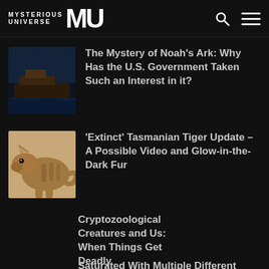Mysterious Universe MU
The Mystery of Noah's Ark: Why Has the U.S. Government Taken Such an Interest in it?
'Extinct' Tasmanian Tiger Update - A Possible Video and Glow-in-the-Dark Fur
Cryptozoological Creatures and Us: When Things Get Deadly
Saturated With Multiple Different